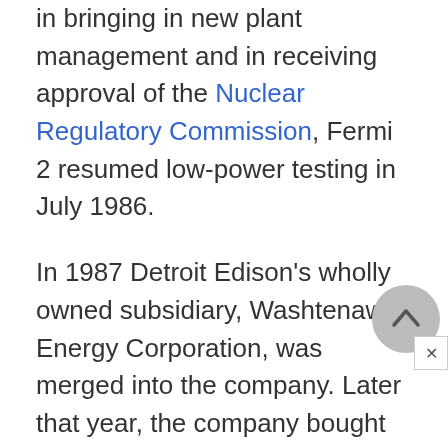in bringing in new plant management and in receiving approval of the Nuclear Regulatory Commission, Fermi 2 resumed low-power testing in July 1986.

In 1987 Detroit Edison’s wholly owned subsidiary, Washtenaw Energy Corporation, was merged into the company. Later that year, the company bought the electric business and properties serving the city of Pontiac from Consumers Power and began to supply the people of Pontiac